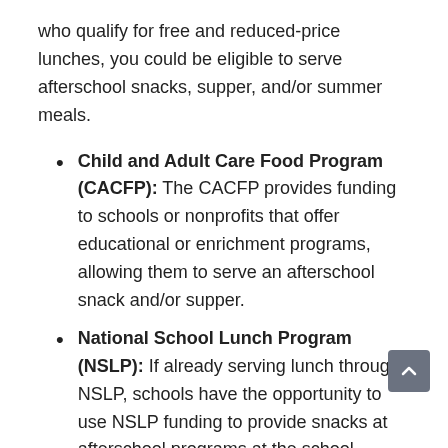who qualify for free and reduced-price lunches, you could be eligible to serve afterschool snacks, supper, and/or summer meals.
Child and Adult Care Food Program (CACFP): The CACFP provides funding to schools or nonprofits that offer educational or enrichment programs, allowing them to serve an afterschool snack and/or supper.
National School Lunch Program (NSLP): If already serving lunch through NSLP, schools have the opportunity to use NSLP funding to provide snacks at afterschool programs at the school.
For more information on these two programs, see No Kid Hungry's After School Meals resources.